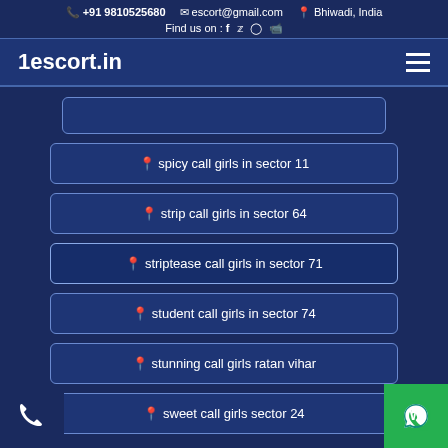+91 9810525680  escort@gmail.com  Bhiwadi, India  Find us on : f  (social icons)
1escort.in
spicy call girls in sector 11
strip call girls in sector 64
striptease call girls in sector 71
student call girls in sector 74
stunning call girls ratan vihar
sweet call girls sector 24